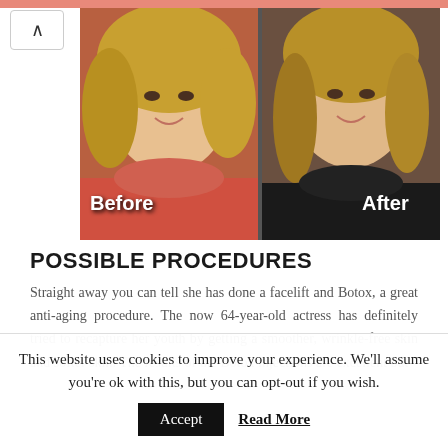[Figure (photo): Before and after comparison photos of a woman's face. Left photo labeled 'Before' shows woman with blonde wavy hair and coral/pink outfit. Right photo labeled 'After' shows the same woman with straighter blonde hair and dark outfit.]
POSSIBLE PROCEDURES
Straight away you can tell she has done a facelift and Botox, a great anti-aging procedure. The now 64-year-old actress has definitely tried to recapture her youth by getting a smoother, wrinkle-free skin and softer skin. The results of the Botox injections are excellent but
This website uses cookies to improve your experience. We'll assume you're ok with this, but you can opt-out if you wish.
Accept    Read More